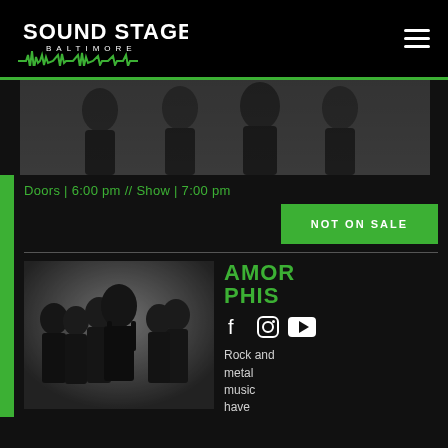Sound Stage Baltimore
[Figure (photo): Band photo - multiple musicians in black clothing against dark background]
Doors | 6:00 pm // Show | 7:00 pm
NOT ON SALE
[Figure (photo): Amorphis band photo - six musicians, one with long hair in center front]
AMORPHIS
Rock and metal music have